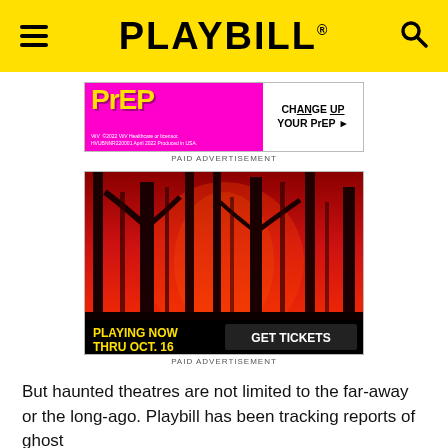PLAYBILL
[Figure (advertisement): PrEP advertisement with magenta background and 'CHANGE UP YOUR PrEP' call to action. ViiV Healthcare branding. PAID ADVERTISEMENT label below.]
PAID ADVERTISEMENT
[Figure (advertisement): Theatre show advertisement with red forest/trees illustration. Text reads 'PLAYING NOW THRU OCT. 16' with 'GET TICKETS' button. PAID ADVERTISEMENT label below.]
PAID ADVERTISEMENT
But haunted theatres are not limited to the far-away or the long-ago. Playbill has been tracking reports of ghost